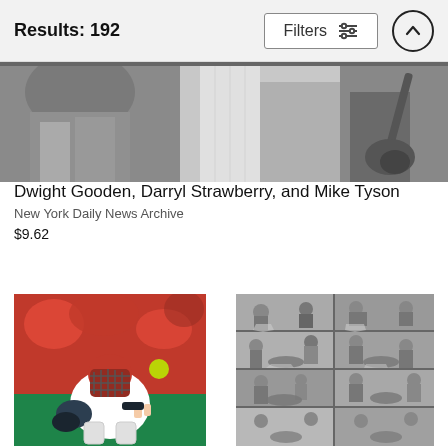Results: 192
[Figure (photo): Black and white photo strip of baseball players including Dwight Gooden, Darryl Strawberry, and Mike Tyson]
Dwight Gooden, Darryl Strawberry, and Mike Tyson
New York Daily News Archive
$9.62
[Figure (photo): Color photo of a baseball catcher in red/white Cardinals uniform crouching and signaling, ball visible in background]
[Figure (photo): Black and white composite grid of 8 baseball game action photos showing plays at home plate]